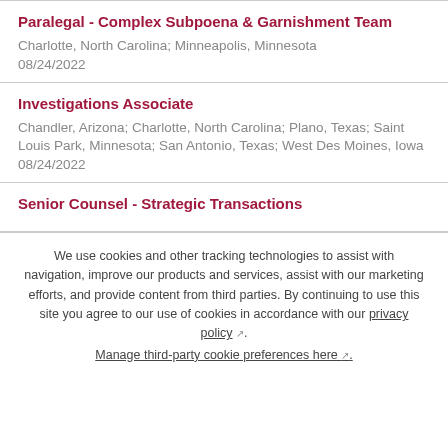Paralegal - Complex Subpoena & Garnishment Team
Charlotte, North Carolina; Minneapolis, Minnesota
08/24/2022
Investigations Associate
Chandler, Arizona; Charlotte, North Carolina; Plano, Texas; Saint Louis Park, Minnesota; San Antonio, Texas; West Des Moines, Iowa
08/24/2022
Senior Counsel - Strategic Transactions
We use cookies and other tracking technologies to assist with navigation, improve our products and services, assist with our marketing efforts, and provide content from third parties. By continuing to use this site you agree to our use of cookies in accordance with our privacy policy. Manage third-party cookie preferences here.